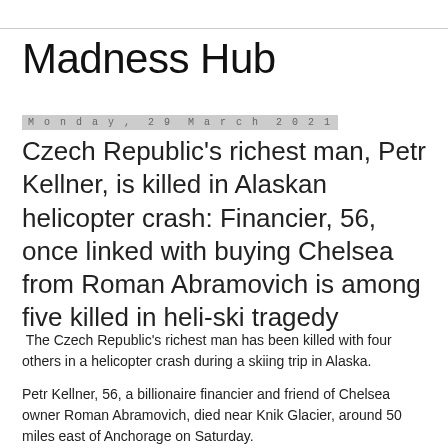Madness Hub
Monday, 29 March 2021
Czech Republic's richest man, Petr Kellner, is killed in Alaskan helicopter crash: Financier, 56, once linked with buying Chelsea from Roman Abramovich is among five killed in heli-ski tragedy
The Czech Republic's richest man has been killed with four others in a helicopter crash during a skiing trip in Alaska.
Petr Kellner, 56, a billionaire financier and friend of Chelsea owner Roman Abramovich, died near Knik Glacier, around 50 miles east of Anchorage on Saturday.